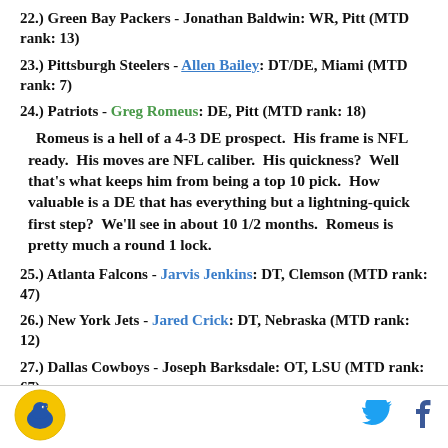22.) Green Bay Packers - Jonathan Baldwin: WR, Pitt (MTD rank: 13)
23.) Pittsburgh Steelers - Allen Bailey: DT/DE, Miami (MTD rank: 7)
24.) Patriots - Greg Romeus: DE, Pitt (MTD rank: 18)
Romeus is a hell of a 4-3 DE prospect. His frame is NFL ready. His moves are NFL caliber. His quickness? Well that's what keeps him from being a top 10 pick. How valuable is a DE that has everything but a lightning-quick first step? We'll see in about 10 1/2 months. Romeus is pretty much a round 1 lock.
25.) Atlanta Falcons - Jarvis Jenkins: DT, Clemson (MTD rank: 47)
26.) New York Jets - Jared Crick: DT, Nebraska (MTD rank: 12)
27.) Dallas Cowboys - Joseph Barksdale: OT, LSU (MTD rank: 67)
28.) San Diego Chargers - Rodney Hudson: G, Florida St. (MTD rank: 29)
SB Nation logo, Twitter icon, Facebook icon